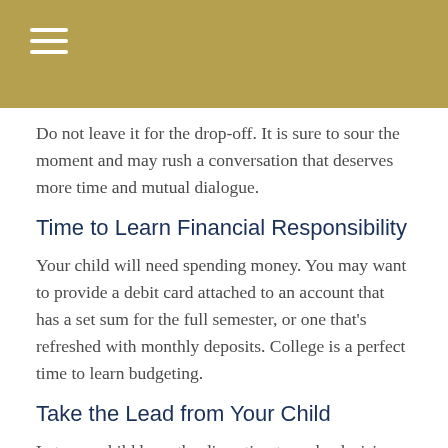Do not leave it for the drop-off. It is sure to sour the moment and may rush a conversation that deserves more time and mutual dialogue.
Time to Learn Financial Responsibility
Your child will need spending money. You may want to provide a debit card attached to an account that has a set sum for the full semester, or one that's refreshed with monthly deposits. College is a perfect time to learn budgeting.
Take the Lead from Your Child
Let your child have the discretion to make decisions about what to bring. However important you think a dust sk... the bed is, try to avoid fights. Let your child make a mistake. It's the best way to learn.